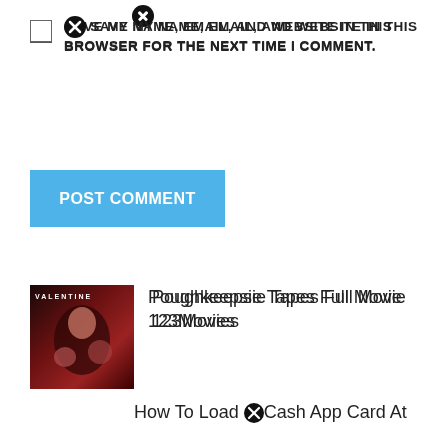SAVE MY NAME, EMAIL, AND WEBSITE IN THIS BROWSER FOR THE NEXT TIME I COMMENT.
POST COMMENT
[Figure (photo): Movie poster thumbnail for Valentine horror film showing faces]
Poughkeepsie Tapes Full Movie 123Movies
[Figure (photo): Thumbnail image for 'Where Do You Live? In Spanish' video showing a woman]
How To Say Where Are U From In Spanish
How To Load ⓧCash App Card At